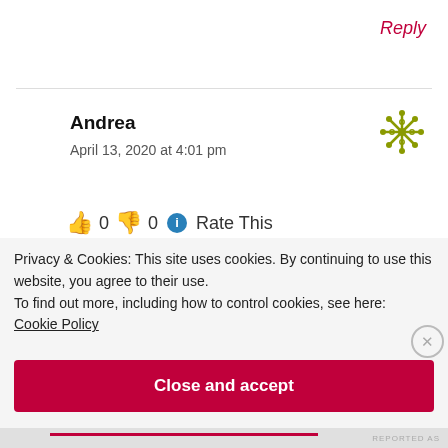Reply
Andrea
April 13, 2020 at 4:01 pm
👍 0 👎 0 ℹ Rate This
[Figure (illustration): Decorative snowflake/asterisk icon in olive/yellow-green color]
Privacy & Cookies: This site uses cookies. By continuing to use this website, you agree to their use.
To find out more, including how to control cookies, see here:
Cookie Policy
Close and accept